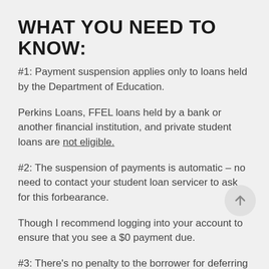WHAT YOU NEED TO KNOW:
#1: Payment suspension applies only to loans held by the Department of Education.
Perkins Loans, FFEL loans held by a bank or another financial institution, and private student loans are not eligible.
#2: The suspension of payments is automatic – no need to contact your student loan servicer to ask for this forbearance.
Though I recommend logging into your account to ensure that you see a $0 payment due.
#3: There's no penalty to the borrower for deferring the principal and interest payment.